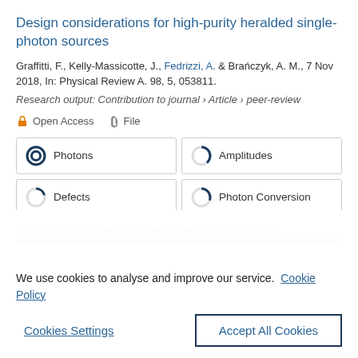Design considerations for high-purity heralded single-photon sources
Graffitti, F., Kelly-Massicotte, J., Fedrizzi, A. & Brańczyk, A. M., 7 Nov 2018, In: Physical Review A. 98, 5, 053811.
Research output: Contribution to journal › Article › peer-review
Open Access   File
Photons | Amplitudes | Defects | Photon Conversion
We use cookies to analyse and improve our service. Cookie Policy
Cookies Settings
Accept All Cookies